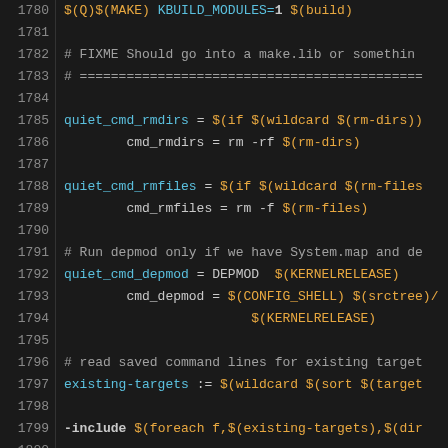[Figure (screenshot): Source code editor showing Makefile lines 1780-1809 with syntax highlighting on a dark background. Line numbers in gray on left, code content with orange/cyan/white syntax coloring on right.]